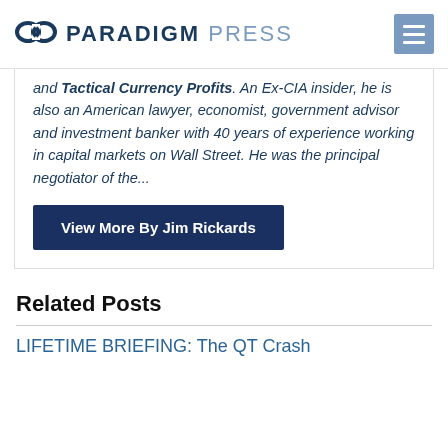[Figure (logo): Paradigm Press logo with infinity symbol and hamburger menu icon]
and Tactical Currency Profits. An Ex-CIA insider, he is also an American lawyer, economist, government advisor and investment banker with 40 years of experience working in capital markets on Wall Street. He was the principal negotiator of the...
View More By Jim Rickards
Related Posts
LIFETIME BRIEFING: The QT Crash